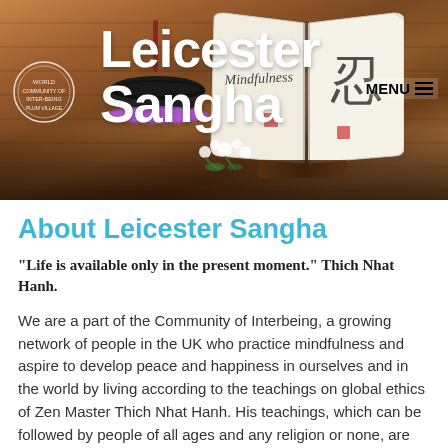[Figure (photo): Hero banner photo showing a singing bowl on a colorful mat, an open book with 'Mindfulness' handwritten on one page and a Japanese/Chinese character on another, and white flowers on a dark wooden table. Overlaid with large white text 'Leicester Sangha', a circular logo, and a MENU button with hamburger icon.]
About Leicester Sangha
“Life is available only in the present moment.” Thich Nhat Hanh.
We are a part of the Community of Interbeing, a growing network of people in the UK who practice mindfulness and aspire to develop peace and happiness in ourselves and in the world by living according to the teachings on global ethics of Zen Master Thich Nhat Hanh. His teachings, which can be followed by people of all ages and any religion or none, are notable for their emphasis on joy, engagement in the world, and